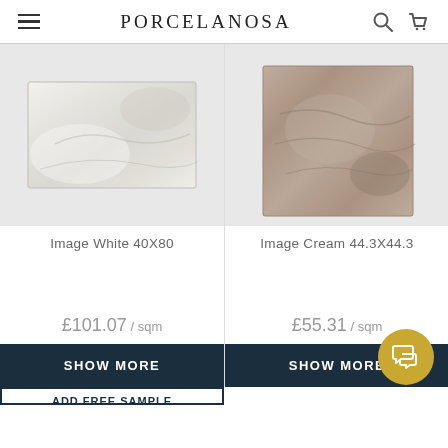PORCELANOSA
[Figure (photo): White marble-look rectangular tile (Image White 40X80) on light grey background]
[Figure (photo): Cream/beige square tile (Image Cream 44.3X44.3) on light grey background]
Image White 40X80
Image Cream 44.3X44.3
£101.07 / sqm
£55.31 / sqm
SHOW MORE
SHOW MORE
ADD FREE SAMPLE